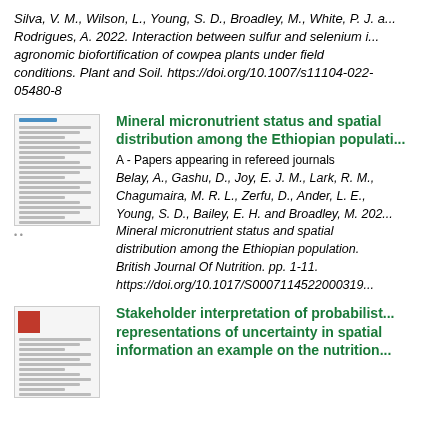Silva, V. M., Wilson, L., Young, S. D., Broadley, M., White, P. J. a... Rodrigues, A. 2022. Interaction between sulfur and selenium i... agronomic biofortification of cowpea plants under field conditions. Plant and Soil. https://doi.org/10.1007/s11104-022-05480-8
[Figure (other): Thumbnail image of a journal article page]
Mineral micronutrient status and spatial distribution among the Ethiopian population
A - Papers appearing in refereed journals
Belay, A., Gashu, D., Joy, E. J. M., Lark, R. M., Chagumaira, M. R. L., Zerfu, D., Ander, L. E., Young, S. D., Bailey, E. H. and Broadley, M. 2022. Mineral micronutrient status and spatial distribution among the Ethiopian population. British Journal Of Nutrition. pp. 1-11. https://doi.org/10.1017/S0007114522000319
[Figure (other): Thumbnail image of a second journal article page]
Stakeholder interpretation of probabilistic representations of uncertainty in spatial information an example on the nutrition...